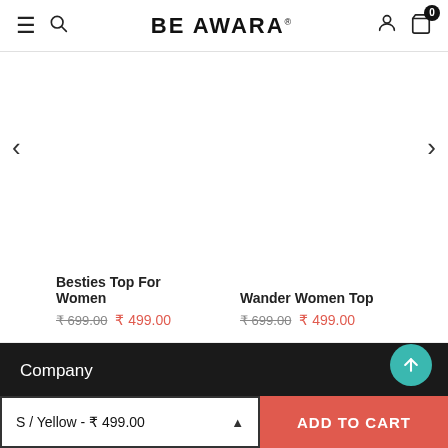BE AWARA
Besties Top For Women ₹ 699.00 ₹ 499.00
Wander Women Top ₹ 699.00 ₹ 499.00
Company
Customer Support
S / Yellow - ₹ 499.00
ADD TO CART